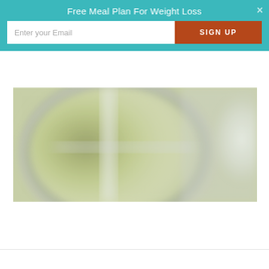Free Meal Plan For Weight Loss
Enter your Email
SIGN UP
[Figure (photo): Close-up blurred photo of a blender or food processor bowl with green-yellow blended food/smoothie contents, viewed from above. The image appears intentionally blurred or out of focus.]
×